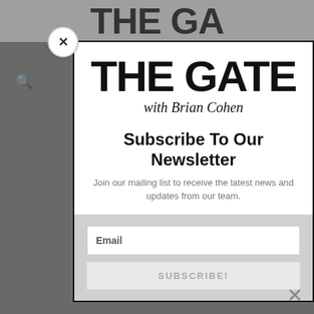[Figure (screenshot): Screenshot of 'The Gate with Brian Cohen' website showing a newsletter subscription modal popup overlaid on the page content. The modal has the site logo at top, 'Subscribe To Our Newsletter' headline, descriptive text, an Email input field, and a SUBSCRIBE! button. A close button (×) appears top-left of modal and bottom-right of form area.]
THE GATE with Brian Cohen
Subscribe To Our Newsletter
Join our mailing list to receive the latest news and updates from our team.
Email
SUBSCRIBE!